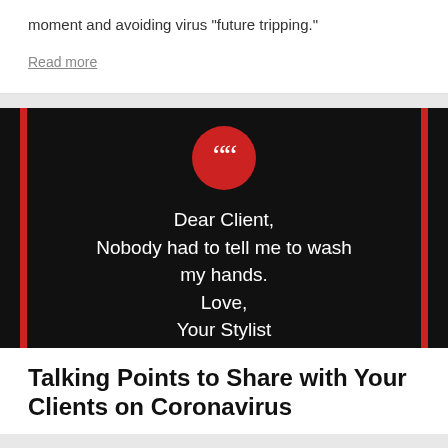moment and avoiding virus "future tripping."
Read more
[Figure (illustration): Dark black card with red vertical bars on left and right edges. A red circle with white quotation mark icon at top center. White text reads: Dear Client, Nobody had to tell me to wash my hands. Love, Your Stylist]
Talking Points to Share with Your Clients on Coronavirus